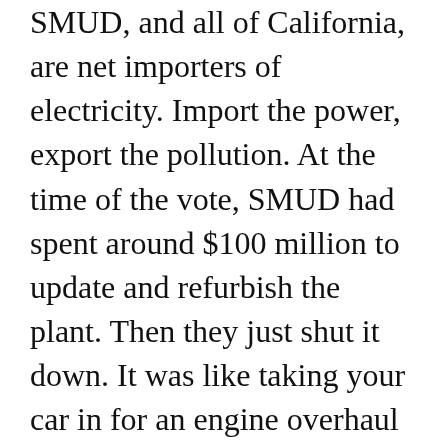SMUD, and all of California, are net importers of electricity. Import the power, export the pollution. At the time of the vote, SMUD had spent around $100 million to update and refurbish the plant. Then they just shut it down. It was like taking your car in for an engine overhaul and then immediately parking it in a very expensive garage, never to drive it again. It was a very clear lack of leadership on the part of the SMUD board.
Yes, nuclear [power] has its problems. I